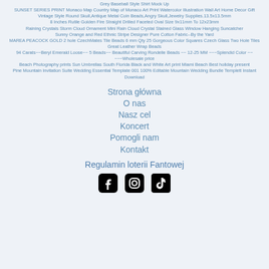Grey Baseball Style Shirt Mock Up
SUNSET SERIES PRINT Monaco Map Country Map of Monaco Art Print Watercolor Illustration Wall Art Home Decor Gift
Vintage Style Round Skull,Antique Metal Coin Beads,Angry Skull,Jewelry Supplies.13.5x13.5mm
8 Inches Rutile Golden Fire Straight Drilled Faceted Oval Size 9x11mm To 12x23mm
Raining Crystals Storm Cloud Ornament Mini Rain Cloud Crystal Stained Glass Window Hanging Suncatcher
Sunny Orange and Red Ethnic Stripe Designer Pure Cotton Fabric--By the Yard
MAREA PEACOCK GOLD 2 hole CzechMates Tile Beads 6 mm Qty 25 Gorgeous Color Squares Czech Glass Two Hole Tiles Great Leather Wrap Beads
94 Carats~~Beryl Emerald Loose~~ 5 Beads~~ Beautiful Carving Rondelle Beads ~~ 12-25 MM ~~~Splendid Color ~~ ~~~Wholesale price
Beach Photography prints Sun Umbrellas South Florida Black and White Art print Miami Beach Best holiday present
Pine Mountain Invitation Suite Wedding Essential Template 001 100% Editable Mountain Wedding Bundle Templett Instant Download
Strona główna
O nas
Nasz cel
Koncert
Pomogli nam
Kontakt
Regulamin loterii Fantowej
[Figure (illustration): Social media icons: Facebook, Instagram, TikTok]